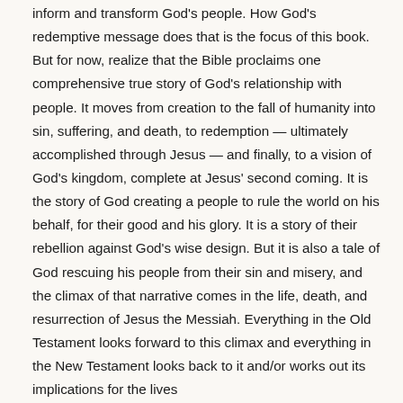inform and transform God's people. How God's redemptive message does that is the focus of this book. But for now, realize that the Bible proclaims one comprehensive true story of God's relationship with people. It moves from creation to the fall of humanity into sin, suffering, and death, to redemption — ultimately accomplished through Jesus — and finally, to a vision of God's kingdom, complete at Jesus' second coming. It is the story of God creating a people to rule the world on his behalf, for their good and his glory. It is a story of their rebellion against God's wise design. But it is also a tale of God rescuing his people from their sin and misery, and the climax of that narrative comes in the life, death, and resurrection of Jesus the Messiah. Everything in the Old Testament looks forward to this climax and everything in the New Testament looks back to it and/or works out its implications for the lives